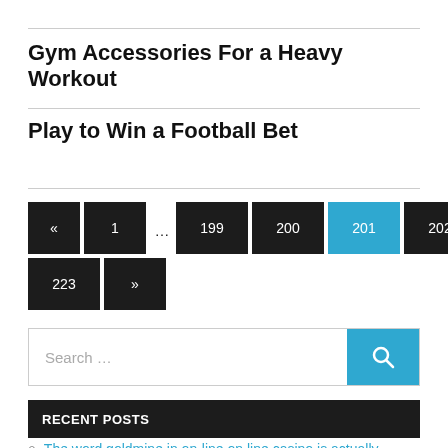Gym Accessories For a Heavy Workout
Play to Win a Football Bet
[Figure (other): Pagination navigation with buttons: «, 1, ..., 199, 200, 201 (active/blue), 202, 203, ..., 223, »]
Search ...
RECENT POSTS
The word goldmine in on-line on line casino is actually